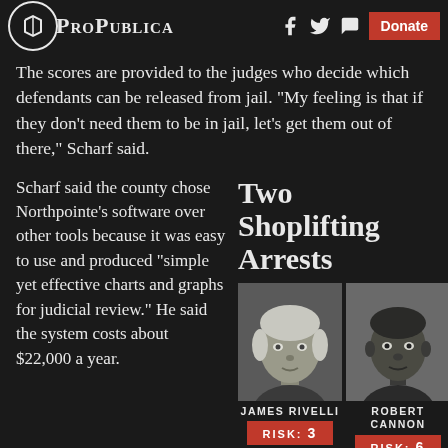ProPublica | f t [chat] Donate
The scores are provided to the judges who decide which defendants can be released from jail. "My feeling is that if they don't need them to be in jail, let's get them out of there," Scharf said.
Scharf said the county chose Northpointe's software over other tools because it was easy to use and produced "simple yet effective charts and graphs for judicial review." He said the system costs about $22,000 a year.
Two Shoplifting Arrests
[Figure (photo): Two mugshot photos side by side. Left: James Rivelli, an older white male with light hair. Right: Robert Cannon, a young Black male. Below each photo is a red risk badge. Rivelli: RISK: 3. Cannon: RISK: 6.]
In 2010, researchers at
After Rivelli stole from a CVS and